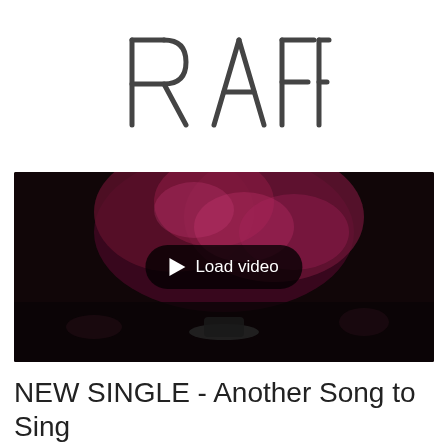[Figure (logo): RAFF logo in thin geometric sans-serif letterforms, dark gray on white]
[Figure (screenshot): Video thumbnail showing dark background with pink/magenta floral smoke abstract imagery, with a 'Load video' play button overlay]
NEW SINGLE - Another Song to Sing